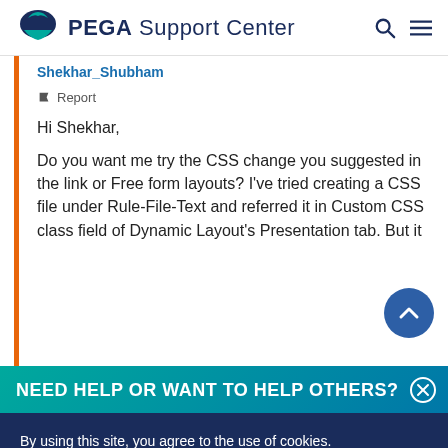PEGA Support Center
Shekhar_Shubham
Report
Hi Shekhar,
Do you want me try the CSS change you suggested in the link or Free form layouts? I've tried creating a CSS file under Rule-File-Text and referred it in Custom CSS class field of Dynamic Layout's Presentation tab. But it
NEED HELP OR WANT TO HELP OTHERS?
By using this site, you agree to the use of cookies.
Read our Privacy Policy
Accept and continue
About cookies